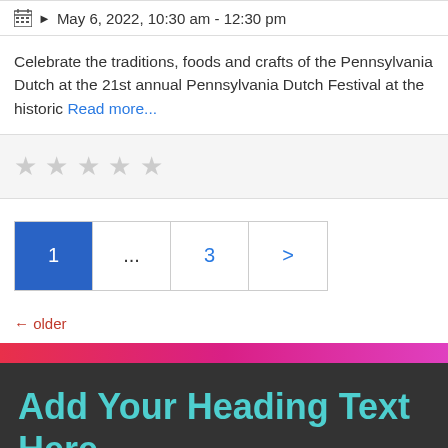May 6, 2022, 10:30 am - 12:30 pm
Celebrate the traditions, foods and crafts of the Pennsylvania Dutch at the 21st annual Pennsylvania Dutch Festival at the historic Read more...
★★★★★ (5 empty stars)
1 ... 3 > (pagination)
← older
Add Your Heading Text Here